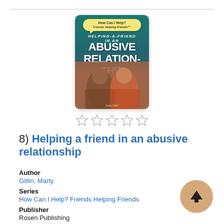[Figure (photo): Book cover of 'Helping a Friend in an Abusive Relationship' from the How Can I Help? Friends Helping Friends series, showing two young women, one comforting the other.]
[Figure (other): Five empty star rating icons (0 out of 5 stars)]
8) Helping a friend in an abusive relationship
Author
Gitlin, Marty
Series
How Can I Help? Friends Helping Friends
Publisher
Rosen Publishing
Pub. Date
2017,